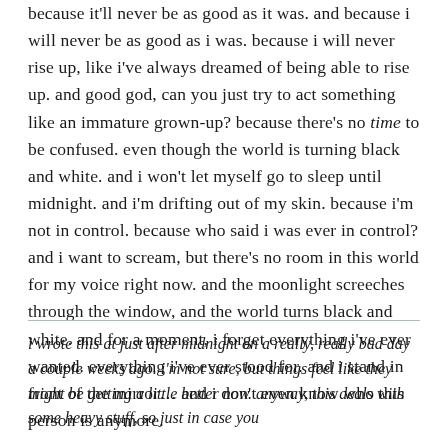because it'll never be as good as it was. and because i will never be as good as i was. because i will never rise up, like i've always dreamed of being able to rise up. and good god, can you just try to act something like an immature grown-up? because there's no time to be confused. even though the world is turning black and white. and i won't let myself go to sleep until midnight. and i'm drifting out of my skin. because i'm not in control. because who said i was ever in control? and i want to scream, but there's no room in this world for my voice right now. and the moonlight screeches through the window, and the world turns black and white. and for a moment, i forget everything i've ever wanted. everything i've ever stood for. and i stand in front of the mirror… and i don't even know who this person is anymore.
i wrote this at just after midnight on a really, really bad day a couple weeks ago. i'm not sure, but things feel like they might be getting a little better now. anyway, this deals with some heavy stuff, so just in case you